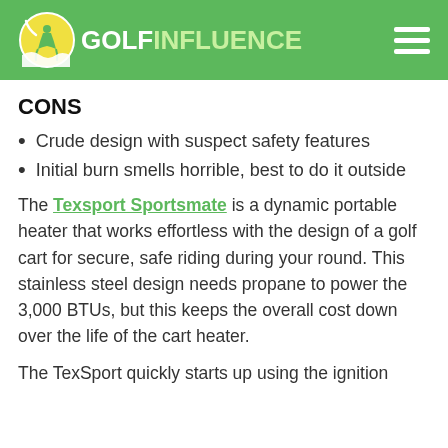GOLF INFLUENCE
CONS
Crude design with suspect safety features
Initial burn smells horrible, best to do it outside
The Texsport Sportsmate is a dynamic portable heater that works effortless with the design of a golf cart for secure, safe riding during your round. This stainless steel design needs propane to power the 3,000 BTUs, but this keeps the overall cost down over the life of the cart heater.
The TexSport quickly starts up using the ignition